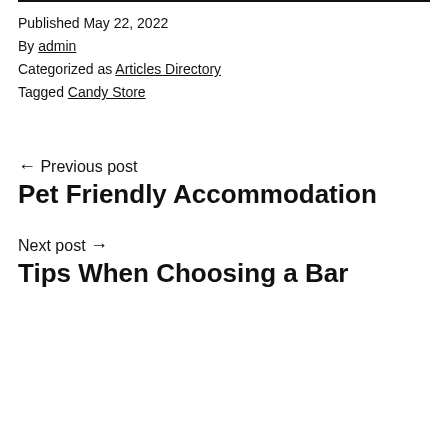Published May 22, 2022
By admin
Categorized as Articles Directory
Tagged Candy Store
← Previous post
Pet Friendly Accommodation
Next post →
Tips When Choosing a Bar